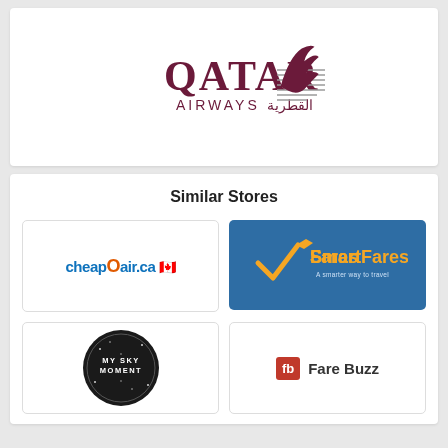[Figure (logo): Qatar Airways logo with Arabic text and stylized oryx bird emblem]
Similar Stores
[Figure (logo): CheapOair.ca logo with Canadian flag icon]
[Figure (logo): SmartFares logo on blue background with checkmark and airplane icon, tagline: A smarter way to travel]
[Figure (logo): My Sky Moment logo - circular dark badge with white text and star dots]
[Figure (logo): Fare Buzz logo with red fb box and black text]